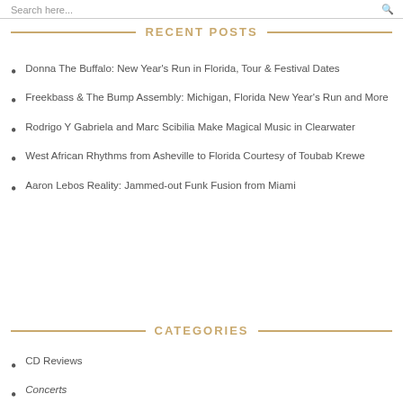Search here...
RECENT POSTS
Donna The Buffalo: New Year’s Run in Florida, Tour & Festival Dates
Freekbass & The Bump Assembly: Michigan, Florida New Year’s Run and More
Rodrigo Y Gabriela and Marc Scibilia Make Magical Music in Clearwater
West African Rhythms from Asheville to Florida Courtesy of Toubab Krewe
Aaron Lebos Reality: Jammed-out Funk Fusion from Miami
CATEGORIES
CD Reviews
Concerts